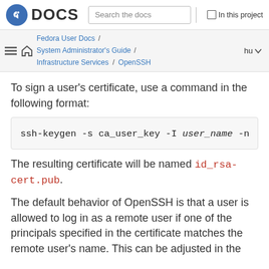DOCS | Search the docs | In this project
Fedora User Docs / System Administrator's Guide / Infrastructure Services / OpenSSH | hu
To sign a user's certificate, use a command in the following format:
The resulting certificate will be named id_rsa-cert.pub.
The default behavior of OpenSSH is that a user is allowed to log in as a remote user if one of the principals specified in the certificate matches the remote user's name. This can be adjusted in the following: